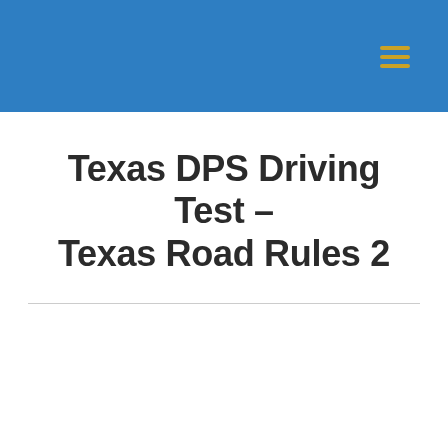Texas DPS Driving Test – Texas Road Rules 2